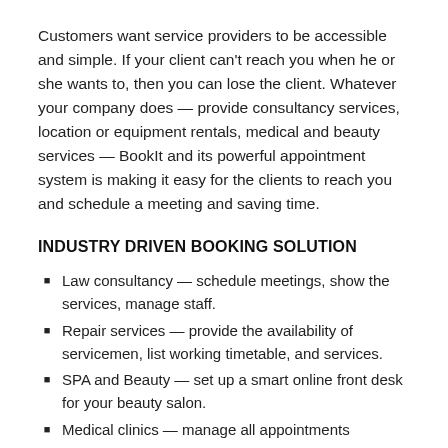Customers want service providers to be accessible and simple. If your client can't reach you when he or she wants to, then you can lose the client. Whatever your company does — provide consultancy services, location or equipment rentals, medical and beauty services — BookIt and its powerful appointment system is making it easy for the clients to reach you and schedule a meeting and saving time.
INDUSTRY DRIVEN BOOKING SOLUTION
Law consultancy — schedule meetings, show the services, manage staff.
Repair services — provide the availability of servicemen, list working timetable, and services.
SPA and Beauty — set up a smart online front desk for your beauty salon.
Medical clinics — manage all appointments